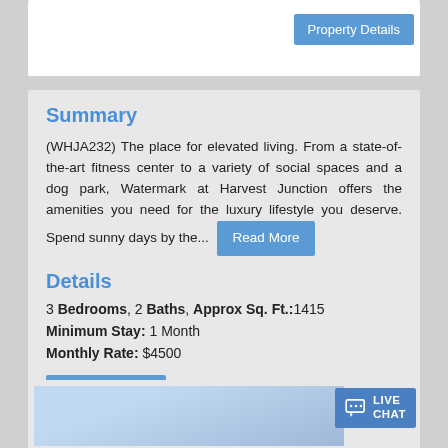[Figure (screenshot): Property image card with Property Details button]
Summary
(WHJA232) The place for elevated living. From a state-of-the-art fitness center to a variety of social spaces and a dog park, Watermark at Harvest Junction offers the amenities you need for the luxury lifestyle you deserve. Spend sunny days by the... Read More
Details
3 Bedrooms, 2 Baths, Approx Sq. Ft.:1415
Minimum Stay: 1 Month
Monthly Rate: $4500
[Figure (screenshot): Bottom property listing card with Live Chat button]